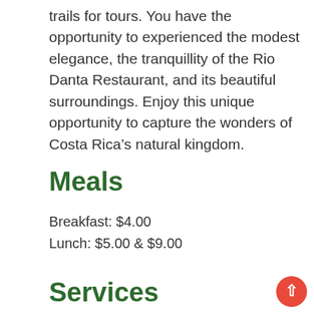trails for tours. You have the opportunity to experienced the modest elegance, the tranquillity of the Rio Danta Restaurant, and its beautiful surroundings. Enjoy this unique opportunity to capture the wonders of Costa Rica’s natural kingdom.
Meals
Breakfast: $4.00
Lunch: $5.00 & $9.00
Services
Trail Fee: $4.00 (2 hours maximum)